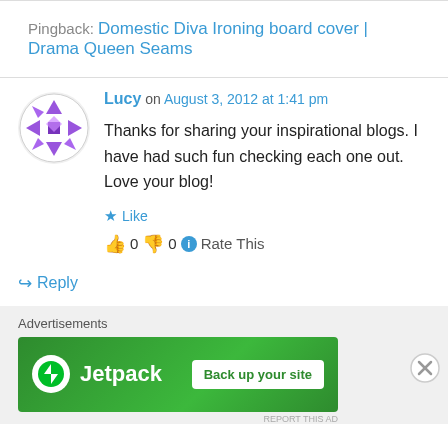Pingback: Domestic Diva Ironing board cover | Drama Queen Seams
Lucy on August 3, 2012 at 1:41 pm
Thanks for sharing your inspirational blogs. I have had such fun checking each one out. Love your blog!
★ Like
👍 0 👎 0 ℹ Rate This
↪ Reply
Advertisements
[Figure (other): Jetpack advertisement banner with logo and 'Back up your site' button on green background]